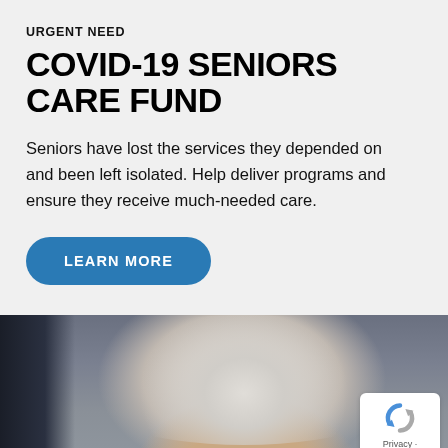URGENT NEED
COVID-19 SENIORS CARE FUND
Seniors have lost the services they depended on and been left isolated. Help deliver programs and ensure they receive much-needed care.
LEARN MORE
[Figure (photo): Photo of an elderly person with white/grey hair, viewed from behind or side, with a dark background on the left (door or shadow) and muted outdoor tones.]
[Figure (logo): reCAPTCHA badge with circular arrow logo icon and 'Privacy - Terms' text below]